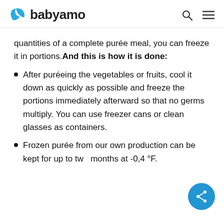babyamo
quantities of a complete purée meal, you can freeze it in portions. And this is how it is done:
After puréeing the vegetables or fruits, cool it down as quickly as possible and freeze the portions immediately afterward so that no germs multiply. You can use freezer cans or clean glasses as containers.
Frozen purée from our own production can be kept for up to two months at -0,4 °F.